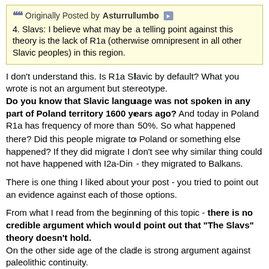Originally Posted by Asturrulumbo
4. Slavs: I believe what may be a telling point against this theory is the lack of R1a (otherwise omnipresent in all other Slavic peoples) in this region.
I don't understand this. Is R1a Slavic by default? What you wrote is not an argument but stereotype. Do you know that Slavic language was not spoken in any part of Poland territory 1600 years ago? And today in Poland R1a has frequency of more than 50%. So what happened there? Did this people migrate to Poland or something else happened? If they did migrate I don't see why similar thing could not have happened with I2a-Din - they migrated to Balkans.
There is one thing I liked about your post - you tried to point out an evidence against each of those options.
From what I read from the beginning of this topic - there is no credible argument which would point out that "The Slavs" theory doesn't hold. On the other side age of the clade is strong argument against paleolithic continuity.